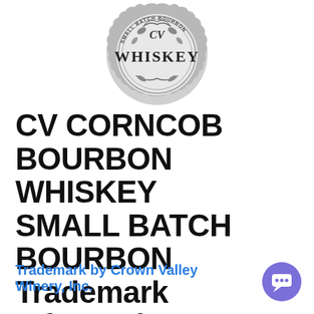[Figure (logo): Circular silver/grey stamp-style badge logo reading 'SMALL BATCH BOURBON' and 'WHISKEY' in the center, with decorative leaf/scroll elements and 'CV' text around the border]
CV CORNCOB BOURBON WHISKEY SMALL BATCH BOURBON Trademark Information
Trademark by Crown Valley Winery, Inc.